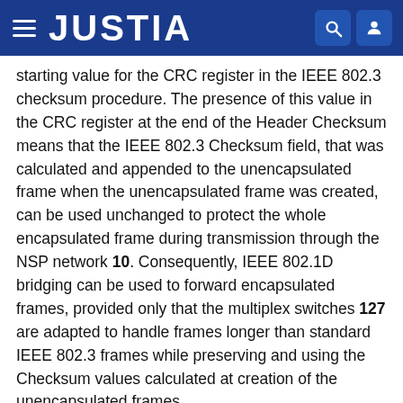JUSTIA
starting value for the CRC register in the IEEE 802.3 checksum procedure. The presence of this value in the CRC register at the end of the Header Checksum means that the IEEE 802.3 Checksum field, that was calculated and appended to the unencapsulated frame when the unencapsulated frame was created, can be used unchanged to protect the whole encapsulated frame during transmission through the NSP network 10. Consequently, IEEE 802.1D bridging can be used to forward encapsulated frames, provided only that the multiplex switches 127 are adapted to handle frames longer than standard IEEE 802.3 frames while preserving and using the Checksum values calculated at creation of the unencapsulated frames.
FIG. 4 is a flow chart illustrating operation of the multiplex switch 127 on receipt of an encapsulated